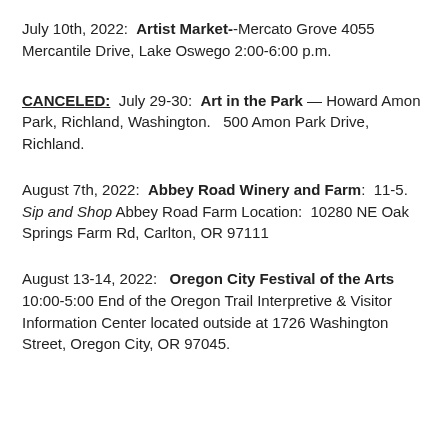July 10th, 2022:  Artist Market--Mercato Grove 4055 Mercantile Drive, Lake Oswego 2:00-6:00 p.m.
CANCELED:  July 29-30:  Art in the Park – Howard Amon Park, Richland, Washington.   500 Amon Park Drive, Richland.
August 7th, 2022:  Abbey Road Winery and Farm:  11-5. Sip and Shop Abbey Road Farm Location:  10280 NE Oak Springs Farm Rd, Carlton, OR 97111
August 13-14, 2022:   Oregon City Festival of the Arts 10:00-5:00 End of the Oregon Trail Interpretive & Visitor Information Center located outside at 1726 Washington Street, Oregon City, OR 97045.